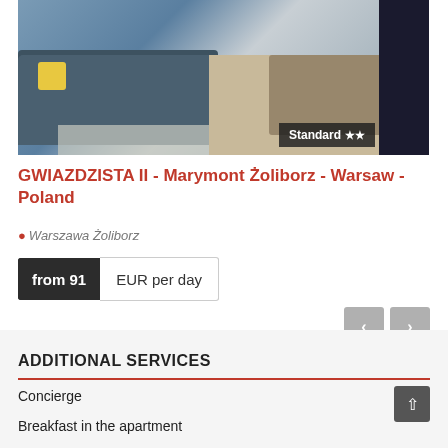[Figure (photo): Interior photo of a modern apartment living room with a dark blue sofa, yellow cushion, patterned rug, wooden floor, dining chairs, and a dark bookshelf. A 'Standard' badge with two stars is overlaid in the bottom right corner of the image.]
GWIAZDZISTA II - Marymont Żoliborz - Warsaw - Poland
Warszawa Żoliborz
from 91  EUR per day
ADDITIONAL SERVICES
Concierge
Breakfast in the apartment